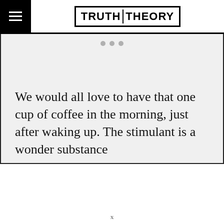Truth Theory
[Figure (screenshot): Slide carousel content area with three dot indicators and a light gray background, showing the beginning of an article]
We would all love to have that one cup of coffee in the morning, just after waking up. The stimulant is a wonder substance